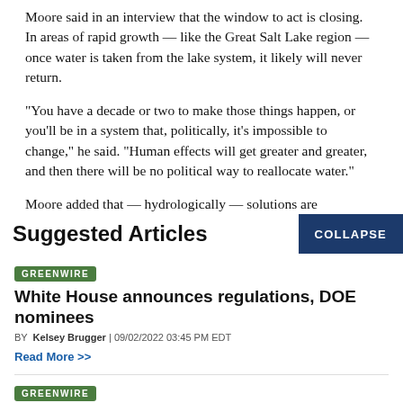Moore said in an interview that the window to act is closing. In areas of rapid growth — like the Great Salt Lake region — once water is taken from the lake system, it likely will never return.
"You have a decade or two to make those things happen, or you'll be in a system that, politically, it's impossible to change," he said. "Human effects will get greater and greater, and then there will be no political way to reallocate water."
Moore added that — hydrologically — solutions are
Suggested Articles
GREENWIRE
White House announces regulations, DOE nominees
BY Kelsey Brugger | 09/02/2022 03:45 PM EDT
Read More >>
GREENWIRE
Murkowski, GOP challenger clash over Haaland, drilling,